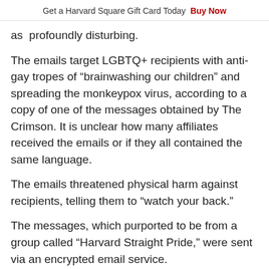Get a Harvard Square Gift Card Today  Buy Now
as profoundly disturbing.
The emails target LGBTQ+ recipients with anti-gay tropes of “brainwashing our children” and spreading the monkeypox virus, according to a copy of one of the messages obtained by The Crimson. It is unclear how many affiliates received the emails or if they all contained the same language.
The emails threatened physical harm against recipients, telling them to “watch your back.”
The messages, which purported to be from a group called “Harvard Straight Pride,” were sent via an encrypted email service.